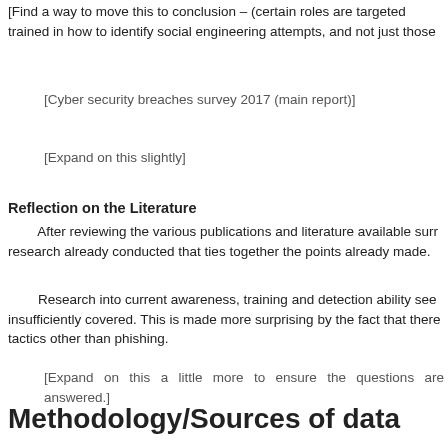[Find a way to move this to conclusion – (certain roles are targeted trained in how to identify social engineering attempts, and not just those
[Cyber security breaches survey 2017 (main report)]
[Expand on this slightly]
Reflection on the Literature
After reviewing the various publications and literature available surr research already conducted that ties together the points already made.
Research into current awareness, training and detection ability see insufficiently covered. This is made more surprising by the fact that there tactics other than phishing.
[Expand on this a little more to ensure the questions are answered.]
Methodology/Sources of data